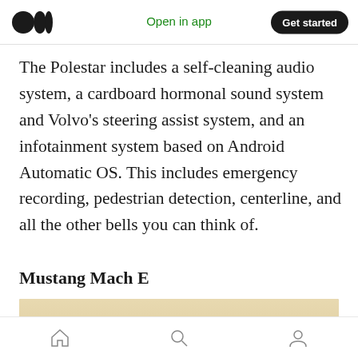Medium logo | Open in app | Get started
The Polestar includes a self-cleaning audio system, a cardboard hormonal sound system and Volvo’s steering assist system, and an infotainment system based on Android Automatic OS. This includes emergency recording, pedestrian detection, centerline, and all the other bells you can think of.
Mustang Mach E
[Figure (photo): Photo of a dark-colored Mustang Mach E car with orange accents, photographed outdoors with mountains/hills in the background under a warm yellowish sky.]
Home | Search | Profile icons